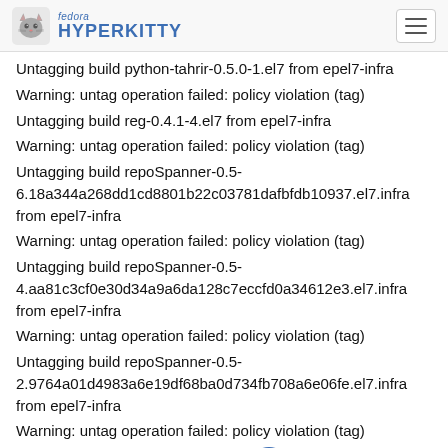fedora HYPERKITTY
Untagging build python-tahrir-0.5.0-1.el7 from epel7-infra
Warning: untag operation failed: policy violation (tag)
Untagging build reg-0.4.1-4.el7 from epel7-infra
Warning: untag operation failed: policy violation (tag)
Untagging build repoSpanner-0.5-6.18a344a268dd1cd8801b22c03781dafbfdb10937.el7.infra from epel7-infra
Warning: untag operation failed: policy violation (tag)
Untagging build repoSpanner-0.5-4.aa81c3cf0e30d34a9a6da128c7eccfd0a34612e3.el7.infra from epel7-infra
Warning: untag operation failed: policy violation (tag)
Untagging build repoSpanner-0.5-2.9764a01d4983a6e19df68ba0d734fb708a6e06fe.el7.infra from epel7-infra
Warning: untag operation failed: policy violation (tag)
Untagging build repoSpanner-0.3-18ade0303739e95661cc7a1b4324d2f91d12005d90.el7 from epel7-infra
Warning: untag operation failed: policy violation (tag)